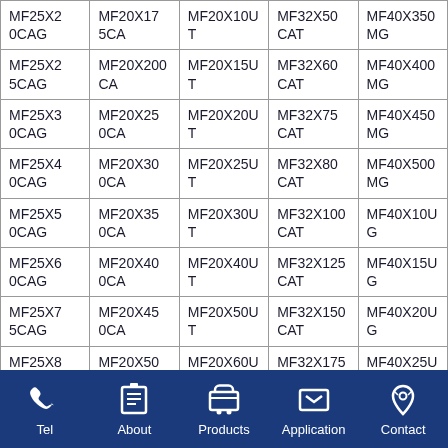| MF25X20CAG | MF20X175CA | MF20X10UT | MF32X50CAT | MF40X3500MG |
| MF25X25CAG | MF20X200CA | MF20X15UT | MF32X60CAT | MF40X4000MG |
| MF25X30CAG | MF20X250CA | MF20X20UT | MF32X75CAT | MF40X4500MG |
| MF25X40CAG | MF20X300CA | MF20X25UT | MF32X80CAT | MF40X5000MG |
| MF25X50CAG | MF20X350CA | MF20X30UT | MF32X100CAT | MF40X10UG |
| MF25X60CAG | MF20X400CA | MF20X40UT | MF32X125CAT | MF40X15UG |
| MF25X75CAG | MF20X450CA | MF20X50UT | MF32X150CAT | MF40X20UG |
| MF25X80CAG | MF20X500CA | MF20X60UT | MF32X175CAT | MF40X25UG |
| MF25X1... | MF20X10... | MF20X75U... | MF32X200... | MF40X30U... |
Tel | About | Products | Application | Contact